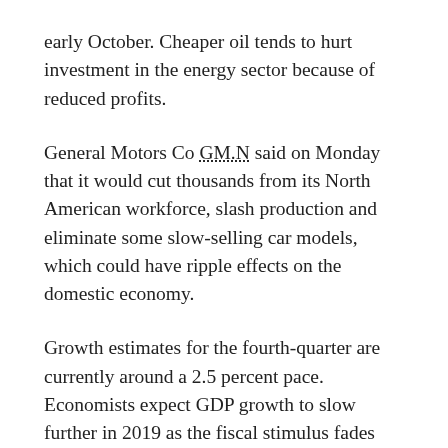early October. Cheaper oil tends to hurt investment in the energy sector because of reduced profits.
General Motors Co GM.N said on Monday that it would cut thousands from its North American workforce, slash production and eliminate some slow-selling car models, which could have ripple effects on the domestic economy.
Growth estimates for the fourth-quarter are currently around a 2.5 percent pace. Economists expect GDP growth to slow further in 2019 as the fiscal stimulus fades and the effects of a bitter trade war with China as well as a strong dollar take their toll.
“Growth will slow in the near-term,” said Cap Eco...